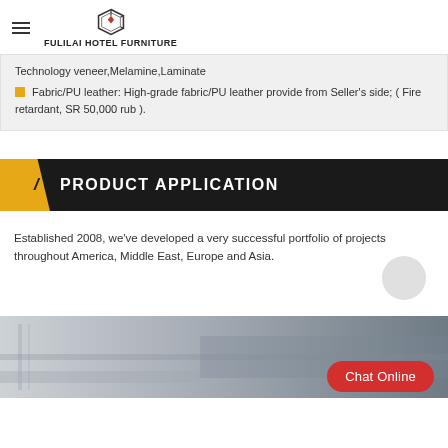FULILAI HOTEL FURNITURE
Technology veneer,Melamine,Laminate
Fabric/PU leather: High-grade fabric/PU leather provide from Seller's side; ( Fire retardant, SR 50,000 rub ).
PRODUCT APPLICATION
Established 2008, we've developed a very successful portfolio of projects throughout America, Middle East, Europe and Asia.
[Figure (photo): Interior room photo showing furniture/hotel room setting]